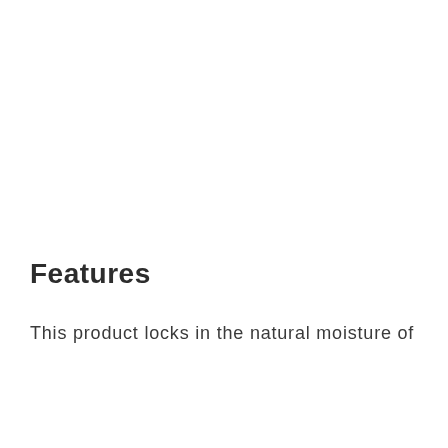Features
This product locks in the natural moisture of